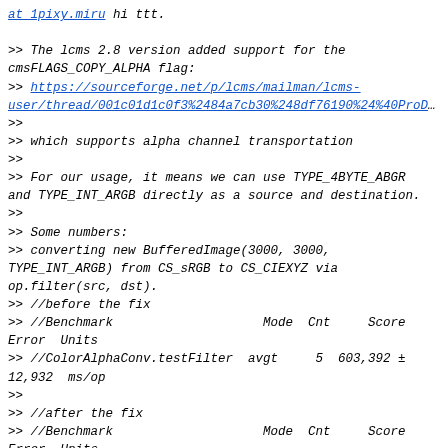>> The lcms 2.8 version added support for the cmsFLAGS_COPY_ALPHA flag:
>> https://sourceforge.net/p/lcms/mailman/lcms-user/thread/001c01d1c0f3%2484a7cb30%248df76190%24%40ProD...
>>
>> which supports alpha channel transportation
>>
>> For our usage, it means we can use TYPE_4BYTE_ABGR and TYPE_INT_ARGB directly as a source and destination.
>>
>> Some numbers:
>> converting new BufferedImage(3000, 3000, TYPE_INT_ARGB) from CS_sRGB to CS_CIEXYZ via op.filter(src, dst).
>> //before the fix
>> //Benchmark                    Mode  Cnt     Score Error  Units
>> //ColorAlphaConv.testFilter  avgt    5  603,392 ± 12,932  ms/op
>>
>> //after the fix
>> //Benchmark                    Mode  Cnt     Score Error  Units
>> //ColorAlphaConv.testFilter  avgt    5  121,624 ± 0,906  ms/op
>>
>> But still slower than kcms
>> //kcms jdk8u60
>> //Benchmark                    Mode  Cnt  Score